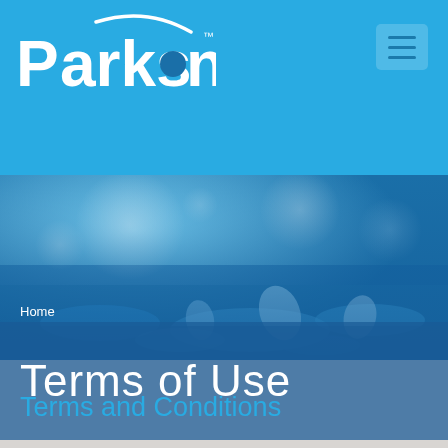Parkson
[Figure (photo): Close-up of water droplets and splashing water with a blue bokeh background, creating an abstract water texture image.]
Home
Terms of Use
Terms and Conditions